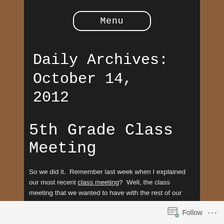Menu
Daily Archives: October 14, 2012
5th Grade Class Meeting
So we did it.  Remember last week when I explained our most recent class meeting?  Well, the class meeting that we wanted to have with the rest of our grade happened this afternoon.
Follow ...